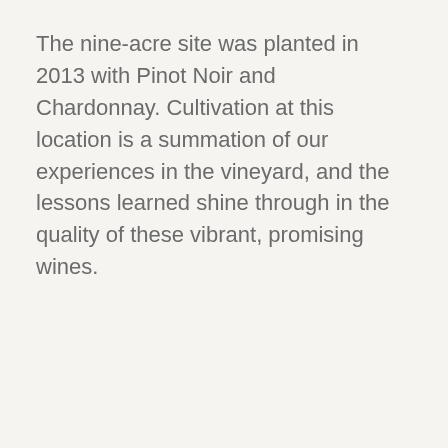The nine-acre site was planted in 2013 with Pinot Noir and Chardonnay. Cultivation at this location is a summation of our experiences in the vineyard, and the lessons learned shine through in the quality of these vibrant, promising wines.